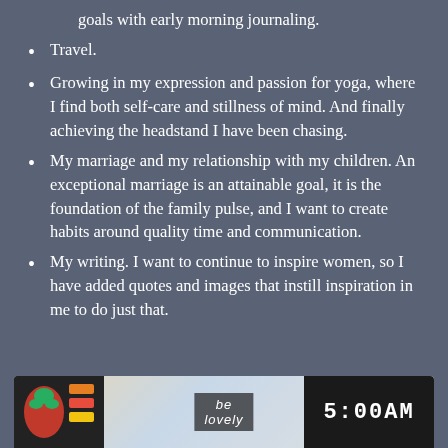goals with early morning journaling.
Travel.
Growing in my expression and passion for yoga, where I find both self-care and stillness of mind. And finally achieving the headstand I have been chasing.
My marriage and my relationship with my children. An exceptional marriage is an attainable goal, it is the foundation of the family pulse, and I want to create habits around quality time and communication.
My writing. I want to continue to inspire women, so I have added quotes and images that instill inspiration in me to do just that.
[Figure (photo): A photo strip at the bottom showing colorful images including a red flower/vegetable on the left, a dark background with text 'be' in the center area, and a clock/sign showing '5:00AM' on the right side.]